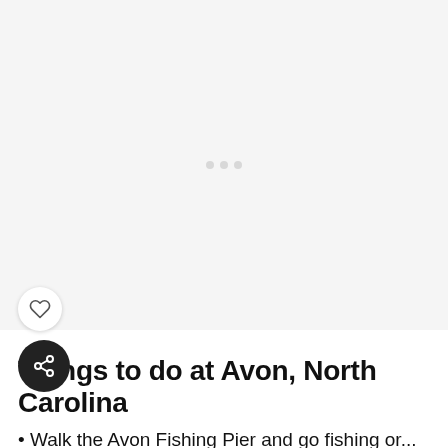[Figure (photo): Large image area placeholder with loading indicator dots, light gray background]
Things to do at Avon, North Carolina
Walk the Avon Fishing Pier and go fishing or...